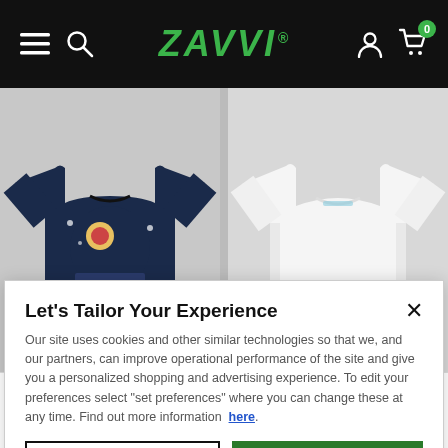Zavvi navigation bar with hamburger menu, search, logo, user icon, and cart (0)
[Figure (photo): Two product photos side by side: left shows a person wearing a navy blue Christmas graphic sweatshirt; right shows a person wearing a plain white sweatshirt]
Let's Tailor Your Experience
Our site uses cookies and other similar technologies so that we, and our partners, can improve operational performance of the site and give you a personalized shopping and advertising experience. To edit your preferences select "set preferences" where you can change these at any time. Find out more information here.
Set Preference
That's Ok